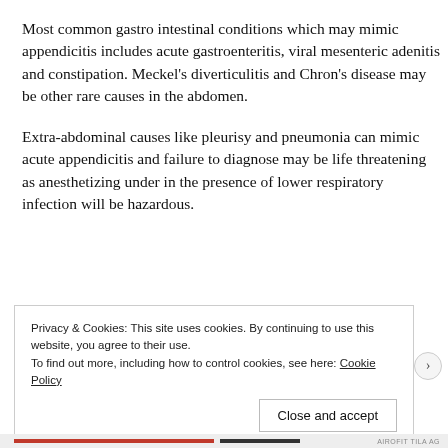Most common gastro intestinal conditions which may mimic appendicitis includes acute gastroenteritis, viral mesenteric adenitis and constipation. Meckel's diverticulitis and Chron's disease may be other rare causes in the abdomen.
Extra-abdominal causes like pleurisy and pneumonia can mimic acute appendicitis and failure to diagnose may be life threatening as anesthetizing under in the presence of lower respiratory infection will be hazardous.
Privacy & Cookies: This site uses cookies. By continuing to use this website, you agree to their use.
To find out more, including how to control cookies, see here: Cookie Policy
Close and accept